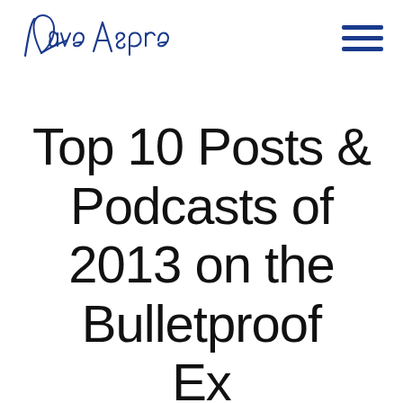Dave Asprey [logo/signature]
Top 10 Posts & Podcasts of 2013 on the Bulletproof Executive